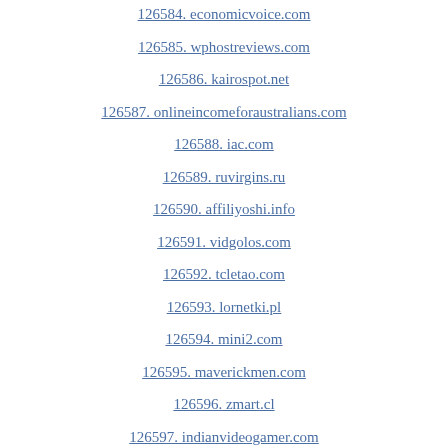126584. economicvoice.com
126585. wphostreviews.com
126586. kairospot.net
126587. onlineincomeforaustralians.com
126588. iac.com
126589. ruvirgins.ru
126590. affiliyoshi.info
126591. vidgolos.com
126592. tcletao.com
126593. lornetki.pl
126594. mini2.com
126595. maverickmen.com
126596. zmart.cl
126597. indianvideogamer.com
126598. epicutfs.com